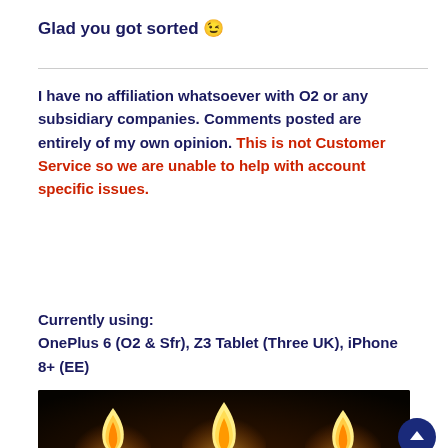Glad you got sorted 😉
I have no affiliation whatsoever with O2 or any subsidiary companies. Comments posted are entirely of my own opinion. This is not Customer Service so we are unable to help with account specific issues.
Currently using:
OnePlus 6 (O2 & Sfr), Z3 Tablet (Three UK), iPhone 8+ (EE)
[Figure (photo): Close-up photograph of multiple lit tealight candles with warm glowing flames against a dark background]